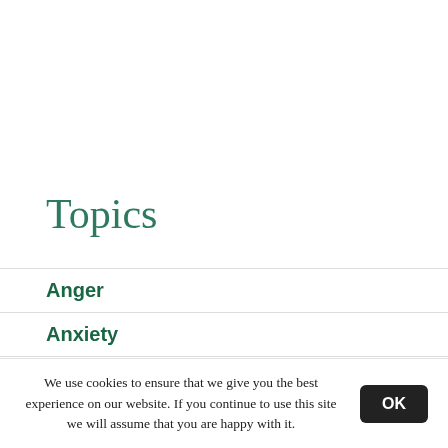Topics
Anger
Anxiety
Apathy
Art
Autism
We use cookies to ensure that we give you the best experience on our website. If you continue to use this site we will assume that you are happy with it.